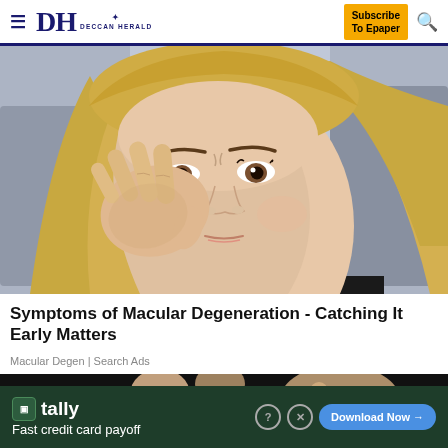DH DECCAN HERALD | Subscribe To Epaper
[Figure (photo): Blonde woman in black clothing rubbing/touching her eye with her fingers, appearing to have eye discomfort, outdoors with blurred background]
Symptoms of Macular Degeneration - Catching It Early Matters
Macular Degen | Search Ads
[Figure (photo): Partial view of hands, dark background, second article image strip]
[Figure (infographic): Tally ad banner: tally logo, Fast credit card payoff, Download Now button with arrow]